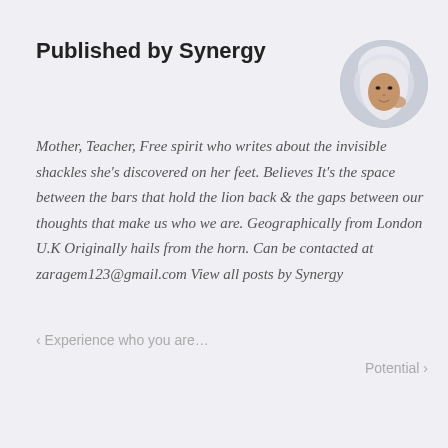Published by Synergy
[Figure (photo): Circular cropped portrait photo of a woman wearing a light-colored headscarf, looking at the camera]
Mother, Teacher, Free spirit who writes about the invisible shackles she’s discovered on her feet. Believes It’s the space between the bars that hold the lion back & the gaps between our thoughts that make us who we are. Geographically from London U.K Originally hails from the horn. Can be contacted at zaragem123@gmail.com View all posts by Synergy
‹ Experience who you are…
Potential ›